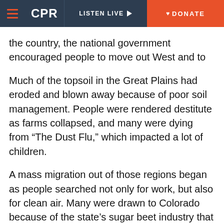CPR | LISTEN LIVE | DONATE
the country, the national government encouraged people to move out West and to try dry-land farming using irrigation systems.
Much of the topsoil in the Great Plains had eroded and blown away because of poor soil management. People were rendered destitute as farms collapsed, and many were dying from “The Dust Flu,” which impacted a lot of children.
A mass migration out of those regions began as people searched not only for work, but also for clean air. Many were drawn to Colorado because of the state’s sugar beet industry that managed to stay unaffected by the worst dust storms.